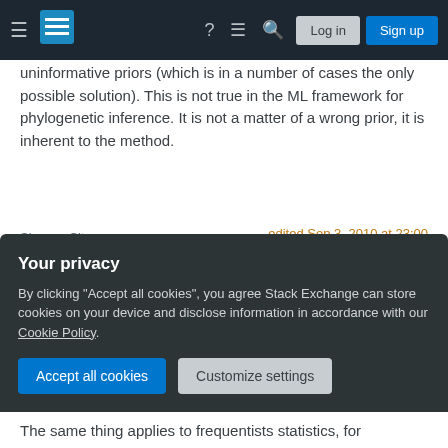Stack Exchange navigation bar with hamburger menu, logo, help, chat, search icons, Log in and Sign up buttons
uninformative priors (which is in a number of cases the only possible solution). This is not true in the ML framework for phylogenetic inference. It is not a matter of a wrong prior, it is inherent to the method.
Share   Cite
Improve this answer
Follow
edited Sep 3, 2010 at 23:00
answered Sep 3, 2010 at 20:24
Joris Meys
5,525 ● 2 ● 34 ● 43
Your privacy
By clicking "Accept all cookies", you agree Stack Exchange can store cookies on your device and disclose information in accordance with our Cookie Policy.
Accept all cookies   Customize settings
The same thing applies to frequentists statistics, for